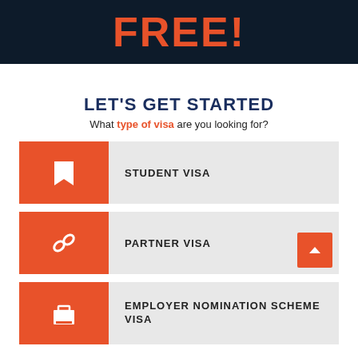FREE!
LET'S GET STARTED
What type of visa are you looking for?
STUDENT VISA
PARTNER VISA
EMPLOYER NOMINATION SCHEME VISA